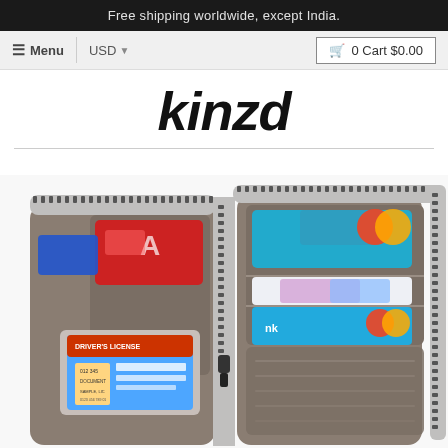Free shipping worldwide, except India.
≡ Menu  |  USD ▾  🛒 0 Cart $0.00
kinzd
[Figure (photo): Open zip-around wallet showing card slots with credit cards and driver's license on the left panel, and colorful credit cards in slots on the right panel, in a taupe/grey color.]